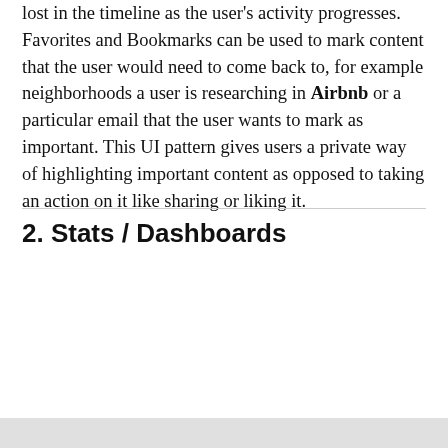lost in the timeline as the user's activity progresses. Favorites and Bookmarks can be used to mark content that the user would need to come back to, for example neighborhoods a user is researching in Airbnb or a particular email that the user wants to mark as important. This UI pattern gives users a private way of highlighting important content as opposed to taking an action on it like sharing or liking it.
2. Stats / Dashboards
[Figure (screenshot): Cookie consent banner overlay with text 'By visiting Speckyboy.com you accept our use of cookies and agree to our privacy policy.' and an OK! button. To the right is a screenshot of a dashboard application with a dark toolbar, menu bar, and a line chart.]